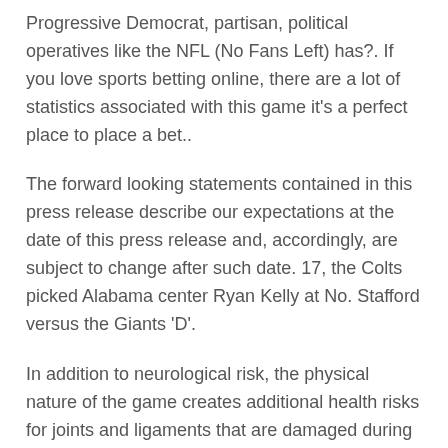Progressive Democrat, partisan, political operatives like the NFL (No Fans Left) has?. If you love sports betting online, there are a lot of statistics associated with this game it's a perfect place to place a bet..
The forward looking statements contained in this press release describe our expectations at the date of this press release and, accordingly, are subject to change after such date. 17, the Colts picked Alabama center Ryan Kelly at No. Stafford versus the Giants 'D'.
In addition to neurological risk, the physical nature of the game creates additional health risks for joints and ligaments that are damaged during play. A quarter of the way through the season, late summer seems like the distant past for the Patriots.
Jay Cutler passed for 230 yards and Jay Ajayi rushed for 122 in the delayed season opener for the Dolphins, who spent the past nine days in California after leaving South Florida early to avoid